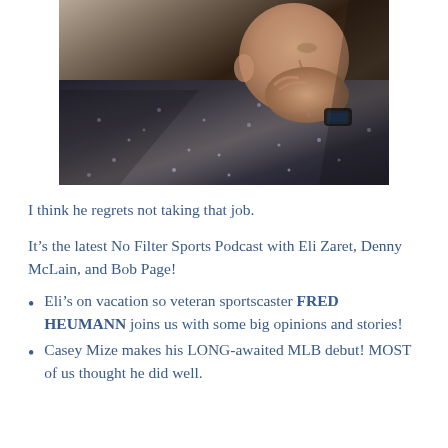[Figure (photo): A man in a dark speckled jacket resting his chin on his hand, appearing thoughtful. He is wearing a dark smartwatch. The photo is cropped showing his face and upper body in profile/three-quarter view.]
I think he regrets not taking that job.
It’s the latest No Filter Sports Podcast with Eli Zaret, Denny McLain, and Bob Page!
Eli’s on vacation so veteran sportscaster FRED HEUMANN joins us with some big opinions and stories!
Casey Mize makes his LONG-awaited MLB debut! MOST of us thought he did well.